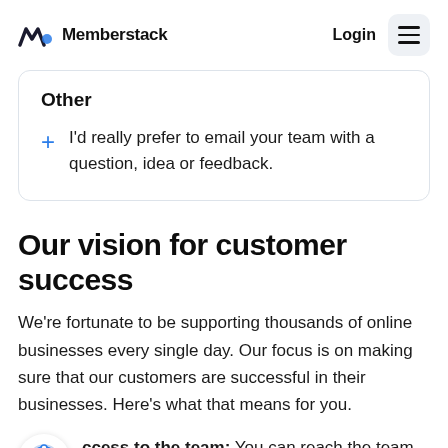Memberstack  Login
Other
I'd really prefer to email your team with a question, idea or feedback.
Our vision for customer success
We're fortunate to be supporting thousands of online businesses every single day. Our focus is on making sure that our customers are successful in their businesses. Here's what that means for you.
ccess to the team: You can reach the team any...ne as you're using or trying out the product. Due to